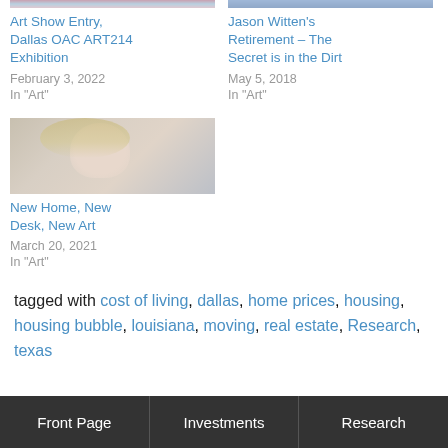[Figure (photo): Partial top of photo — art show or people — cropped at top edge, left column]
Art Show Entry, Dallas OAC ART214 Exhibition
February 3, 2022
In "Art"
[Figure (photo): Partial top of photo — cropped at top edge, right column]
Jason Witten's Retirement – The Secret is in the Dirt
May 5, 2018
In "Art"
[Figure (photo): Pencil/charcoal portrait of a woman with blonde hair resting her chin on her hand]
New Home, New Desk, New Art
March 20, 2021
In "Art"
tagged with cost of living, dallas, home prices, housing, housing bubble, louisiana, moving, real estate, Research, texas
Front Page  Investments  Research